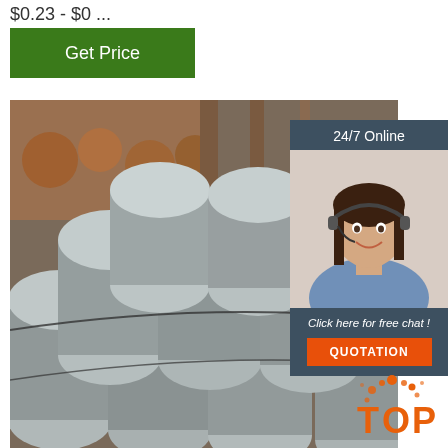$0.23 - $0 ...
Get Price
[Figure (photo): Stack of metallic steel round bars/rods in a warehouse or yard setting, showing rusty pipes in background]
24/7 Online
[Figure (photo): Woman with headset smiling - customer service representative]
Click here for free chat !
QUOTATION
[Figure (logo): TOP logo with orange dots and splash design]